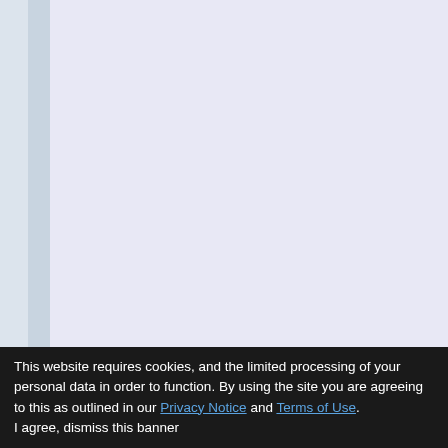10
16
17
20
21A
POU do
PIT-1
BRN
B
C
Octa facto
2
3/4
6
7
11
SATB2
ZEB
1
This website requires cookies, and the limited processing of your personal data in order to function. By using the site you are agreeing to this as outlined in our Privacy Notice and Terms of Use. I agree, dismiss this banner